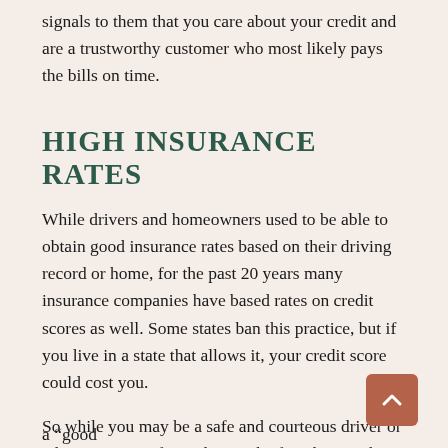signals to them that you care about your credit and are a trustworthy customer who most likely pays the bills on time.
HIGH INSURANCE RATES
While drivers and homeowners used to be able to obtain good insurance rates based on their driving record or home, for the past 20 years many insurance companies have based rates on credit scores as well. Some states ban this practice, but if you live in a state that allows it, your credit score could cost you.
So while you may be a safe and courteous driver or take great care of your home, the fact that you have unpaid medical bills or late credit card payments could add to your monthly expenses by raising your insurance rates.
In the past, with a previous insurance policy, I saw a “good